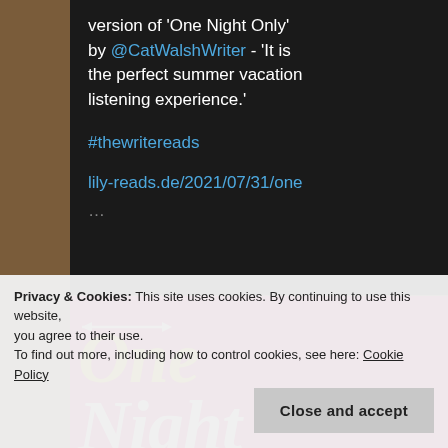version of 'One Night Only' by @CatWalshWriter - 'It is the perfect summer vacation listening experience.' #thewritereads lily-reads.de/2021/07/31/one ...
[Figure (photo): Book cover of 'One Night Only' - pink/magenta background with yellow and white large text reading 'One Night Only', with illustrated figures of a man and woman]
Privacy & Cookies: This site uses cookies. By continuing to use this website, you agree to their use.
To find out more, including how to control cookies, see here: Cookie Policy
Close and accept